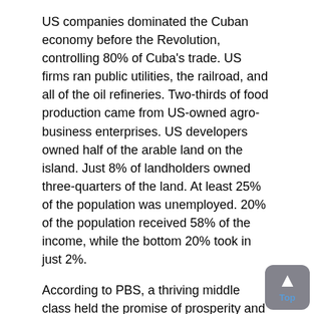US companies dominated the Cuban economy before the Revolution, controlling 80% of Cuba's trade. US firms ran public utilities, the railroad, and all of the oil refineries. Two-thirds of food production came from US-owned agro-business enterprises. US developers owned half of the arable land on the island. Just 8% of landholders owned three-quarters of the land. At least 25% of the population was unemployed. 20% of the population received 58% of the income, while the bottom 20% took in just 2%.
According to PBS, a thriving middle class held the promise of prosperity and social mobility. According to Cuba historian Louis Perez of the University of North Carolina at Chapel Hill, "Havana was then what Las Vegas has become."
[Figure (photo): A person working with tobacco leaves at a table, Cuba-related imagery.]
After the Cuban Revolution and be the collapse of the Soviet Union, Cuba depended on Moscow